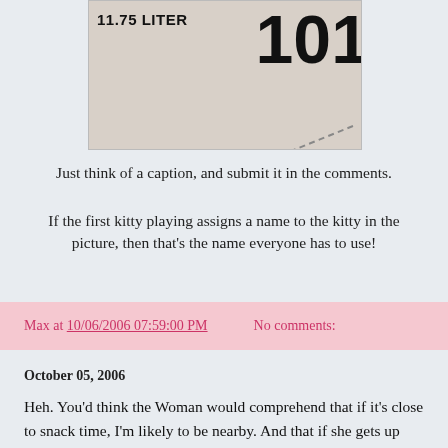[Figure (photo): Partial photo showing text '11.75 LITER' and large numbers, with a dashed diagonal line]
Just think of a caption, and submit it in the comments.
If the first kitty playing assigns a name to the kitty in the picture, then that’s the name everyone has to use!
Max at 10/06/2006 07:59:00 PM    No comments:
October 05, 2006
Heh. You’d think the Woman would comprehend that if it’s close to snack time, I’m likely to be nearby. And that if she gets up from a chair, I’m likely to jump up and head for the kitchen. You’d think.

Who knew she wouldn’t look where she was going, step on my foot, make me shriek, and as I tried to run away I would